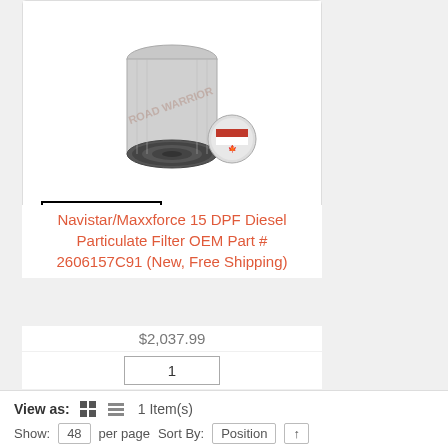[Figure (photo): DPF diesel particulate filter cylinder product image with RoadWarrior logo and USA/Canada badge]
Navistar/Maxxforce 15 DPF Diesel Particulate Filter OEM Part # 2606157C91 (New, Free Shipping)
$2,037.99
1
Add to cart
View as:  1 Item(s)  Show: 48 per page Sort By: Position